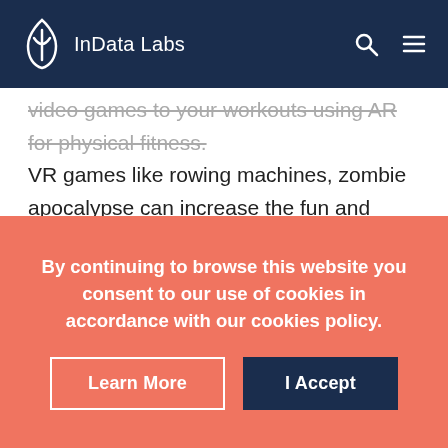InData Labs
video games to your workouts using AR for physical fitness. VR games like rowing machines, zombie apocalypse can increase the fun and adventure element in a full-body VR workout. This can help make your workout sessions engaging and entertaining. Besides, AR devices come with daily tips and tutorials that you can use to learn more about working out and easily reach your workout goals.
Workouts can be intense; therefore, getting entertainment can help ease the pressure. AR and VR make this possible,
By continuing to browse this website you consent to our use of cookies in accordance with our cookies policy.
Learn More
I Accept